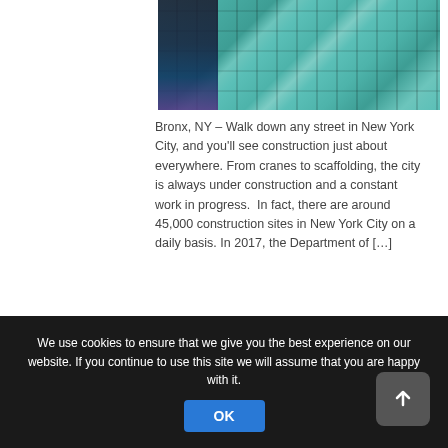[Figure (photo): Photo of a building under construction covered with teal/green scaffolding netting, with a crane visible at the top left corner against a blue sky.]
Bronx, NY – Walk down any street in New York City, and you'll see construction just about everywhere. From cranes to scaffolding, the city is always under construction and a constant work in progress.  In fact, there are around 45,000 construction sites in New York City on a daily basis. In 2017, the Department of […]
Filed Under: construction
We use cookies to ensure that we give you the best experience on our website. If you continue to use this site we will assume that you are happy with it.